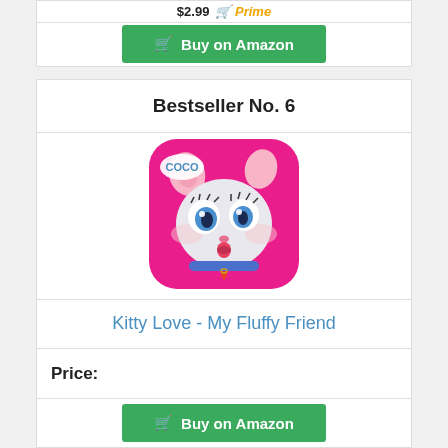$2.99 Prime
Buy on Amazon
Bestseller No. 6
[Figure (illustration): App icon for Kitty Love - My Fluffy Friend showing a cute cartoon white kitten with big blue eyes, pink ears, tongue out, wearing a blue collar with a heart charm, on a pink background with rounded square shape. 'COCO' label in upper left.]
Kitty Love - My Fluffy Friend
Price:
Buy on Amazon